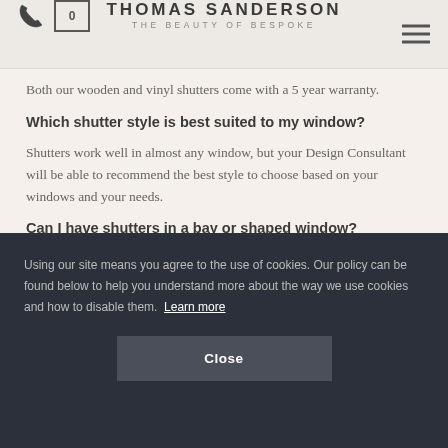THOMAS SANDERSON — THE BEAUTY OF BESPOKE
Both our wooden and vinyl shutters come with a 5 year warranty.
Which shutter style is best suited to my window?
Shutters work well in almost any window, but your Design Consultant will be able to recommend the best style to choose based on your windows and your needs.
Can I have shutters in a bay or shaped window?
Using our site means you agree to the use of cookies. Our policy can be found below to help you understand more about the way we use cookies and how to disable them. Learn more
Close